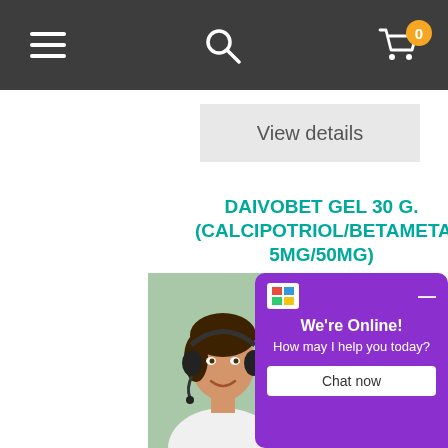[Figure (screenshot): Mobile e-commerce navigation bar with hamburger menu, search icon, and shopping cart with badge showing 0]
View details
DAIVOBET GEL 30 G. (CALCIPOTRIOL/BETAMETA 5MG/50MG)
Consumption of this product is responsibility of the person who uses and...
$61.86
[Figure (photo): Customer service agent woman wearing headset, smiling]
We're Online! How may I help you today?
Chat now